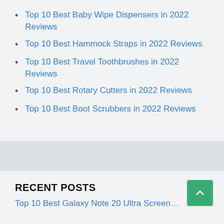Top 10 Best Baby Wipe Dispensers in 2022 Reviews
Top 10 Best Hammock Straps in 2022 Reviews
Top 10 Best Travel Toothbrushes in 2022 Reviews
Top 10 Best Rotary Cutters in 2022 Reviews
Top 10 Best Boot Scrubbers in 2022 Reviews
RECENT POSTS
Top 10 Best Galaxy Note 20 Ultra Screen…